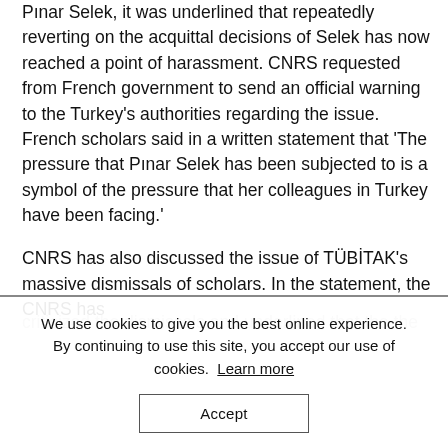Pınar Selek, it was underlined that repeatedly reverting on the acquittal decisions of Selek has now reached a point of harassment. CNRS requested from French government to send an official warning to the Turkey's authorities regarding the issue. French scholars said in a written statement that 'The pressure that Pınar Selek has been subjected to is a symbol of the pressure that her colleagues in Turkey have been facing.'
CNRS has also discussed the issue of TÜBİTAK's massive dismissals of scholars. In the statement, the CNRS has
We use cookies to give you the best online experience. By continuing to use this site, you accept our use of cookies. Learn more
Accept